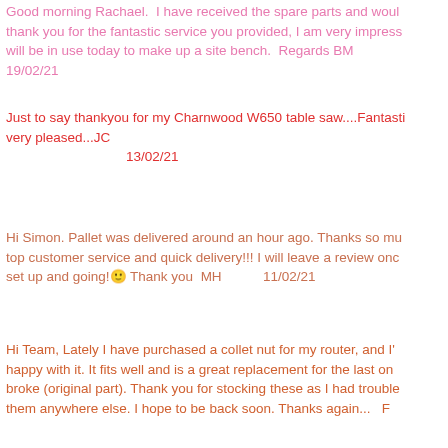Good morning Rachael.  I have received the spare parts and would thank you for the fantastic service you provided, I am very impress will be in use today to make up a site bench.  Regards BM 19/02/21
Just to say thankyou for my Charnwood W650 table saw....Fantastic very pleased...JC 13/02/21
Hi Simon. Pallet was delivered around an hour ago. Thanks so muc top customer service and quick delivery!!! I will leave a review once set up and going!🙂 Thank you  MH          11/02/21
Hi Team, Lately I have purchased a collet nut for my router, and I'm happy with it. It fits well and is a great replacement for the last one broke (original part). Thank you for stocking these as I had trouble them anywhere else. I hope to be back soon. Thanks again... F